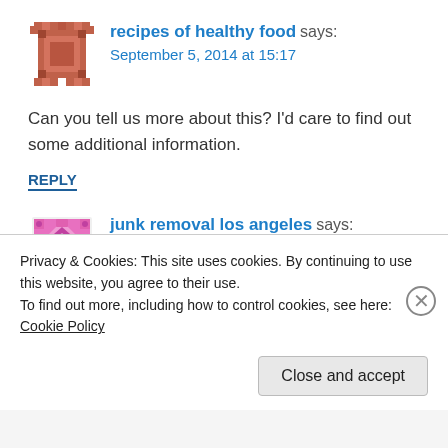[Figure (illustration): Pixel art avatar for 'recipes of healthy food' commenter — reddish/salmon colored square mosaic icon]
recipes of healthy food says:
September 5, 2014 at 15:17
Can you tell us more about this? I'd care to find out some additional information.
REPLY
[Figure (illustration): Pixel art avatar for 'junk removal los angeles' commenter — pink/magenta diamond pattern mosaic icon]
junk removal los angeles says:
September 3, 2014 at 08:49
I'd like to thank you for the efforts you've put in
Privacy & Cookies: This site uses cookies. By continuing to use this website, you agree to their use.
To find out more, including how to control cookies, see here: Cookie Policy
Close and accept